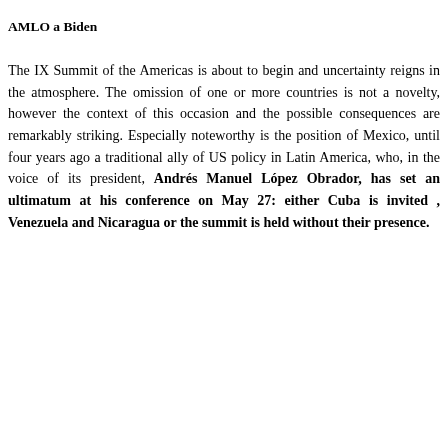AMLO a Biden
The IX Summit of the Americas is about to begin and uncertainty reigns in the atmosphere. The omission of one or more countries is not a novelty, however the context of this occasion and the possible consequences are remarkably striking. Especially noteworthy is the position of Mexico, until four years ago a traditional ally of US policy in Latin America, who, in the voice of its president, Andrés Manuel López Obrador, has set an ultimatum at his conference on May 27: either Cuba is invited , Venezuela and Nicaragua or the summit is held without their presence.